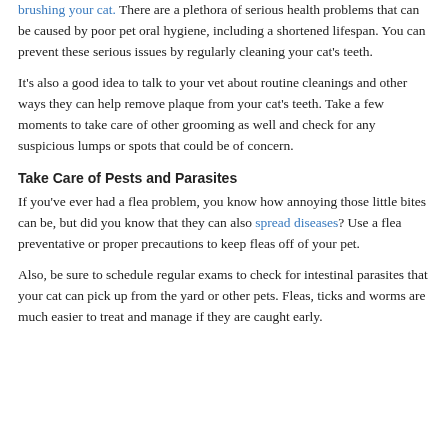brushing your cat. There are a plethora of serious health problems that can be caused by poor pet oral hygiene, including a shortened lifespan. You can prevent these serious issues by regularly cleaning your cat's teeth.
It's also a good idea to talk to your vet about routine cleanings and other ways they can help remove plaque from your cat's teeth. Take a few moments to take care of other grooming as well and check for any suspicious lumps or spots that could be of concern.
Take Care of Pests and Parasites
If you've ever had a flea problem, you know how annoying those little bites can be, but did you know that they can also spread diseases? Use a flea preventative or proper precautions to keep fleas off of your pet.
Also, be sure to schedule regular exams to check for intestinal parasites that your cat can pick up from the yard or other pets. Fleas, ticks and worms are much easier to treat and manage if they are caught early.